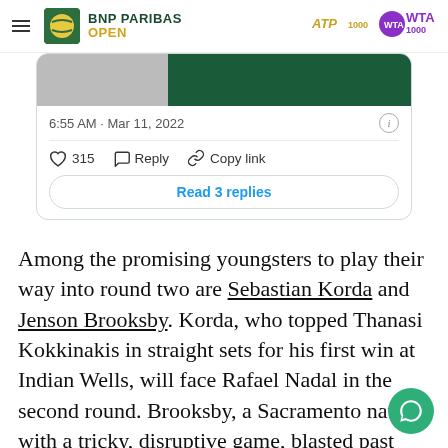BNP PARIBAS OPEN
[Figure (screenshot): Partial tweet screenshot showing timestamp 6:55 AM · Mar 11, 2022, like count 315, Reply and Copy link actions, and a Read 3 replies button]
Among the promising youngsters to play their way into round two are Sebastian Korda and Jenson Brooksby. Korda, who topped Thanasi Kokkinakis in straight sets for his first win at Indian Wells, will face Rafael Nadal in the second round. Brooksby, a Sacramento native with a tricky, disruptive game, blasted past Roberto Carballes in roun